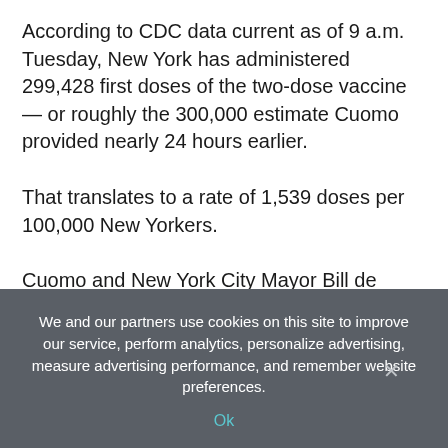According to CDC data current as of 9 a.m. Tuesday, New York has administered 299,428 first doses of the two-dose vaccine — or roughly the 300,000 estimate Cuomo provided nearly 24 hours earlier.
That translates to a rate of 1,539 doses per 100,000 New Yorkers.
Cuomo and New York City Mayor Bill de Blasio have blamed each other for the slow rollout, with the governor citing poor management of the city-run Health and Hospitals system, and Hizzoner arguing that his administration could be moving faster if not for overly restrictive state regulations.
We and our partners use cookies on this site to improve our service, perform analytics, personalize advertising, measure advertising performance, and remember website preferences.